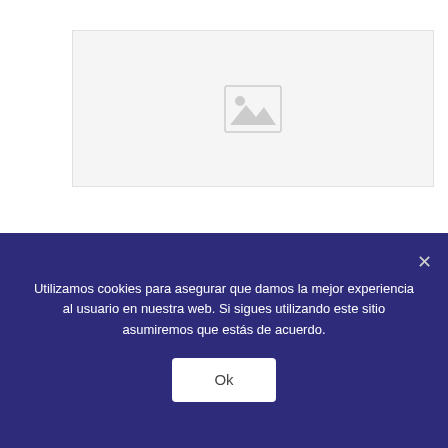septiembre 2, 2022
[Figure (illustration): Placeholder image with mountain/landscape icon in grey on a light grey background]
Глобальный отчет по ситуации с торговлей людьми 2018
Leer más
Warning: Trying to access array offset on value of type bool
Utilizamos cookies para asegurar que damos la mejor experiencia al usuario en nuestra web. Si sigues utilizando este sitio asumiremos que estás de acuerdo.
Ok